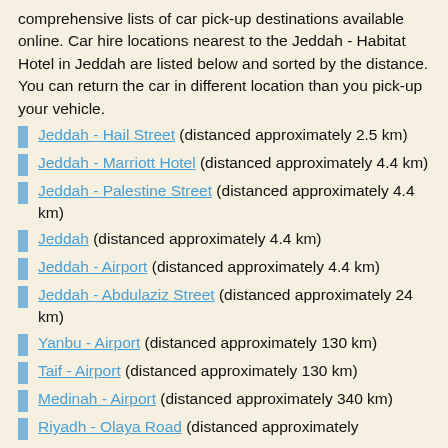comprehensive lists of car pick-up destinations available online. Car hire locations nearest to the Jeddah - Habitat Hotel in Jeddah are listed below and sorted by the distance. You can return the car in different location than you pick-up your vehicle.
Jeddah - Hail Street (distanced approximately 2.5 km)
Jeddah - Marriott Hotel (distanced approximately 4.4 km)
Jeddah - Palestine Street (distanced approximately 4.4 km)
Jeddah (distanced approximately 4.4 km)
Jeddah - Airport (distanced approximately 4.4 km)
Jeddah - Abdulaziz Street (distanced approximately 24 km)
Yanbu - Airport (distanced approximately 130 km)
Taif - Airport (distanced approximately 130 km)
Medinah - Airport (distanced approximately 340 km)
Riyadh - Olaya Road (distanced approximately 350 km)